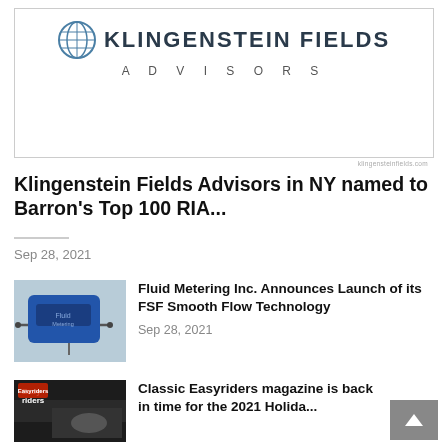[Figure (logo): Klingenstein Fields Advisors logo with globe icon and company name]
Klingenstein Fields Advisors in NY named to Barron's Top 100 RIA...
Sep 28, 2021
[Figure (photo): Blue fluid metering device/pump product photo]
Fluid Metering Inc. Announces Launch of its FSF Smooth Flow Technology
Sep 28, 2021
[Figure (photo): Classic Easyriders magazine cover thumbnail]
Classic Easyriders magazine is back in time for the 2021 Holida...